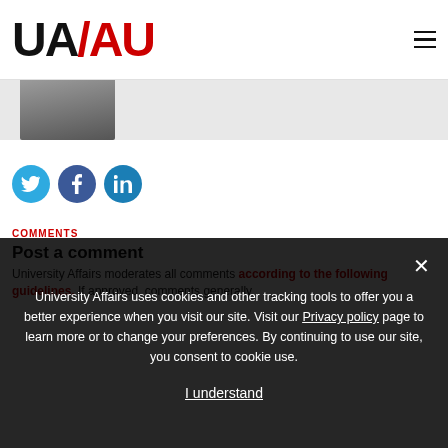[Figure (logo): UA/AU logo — UA in black, slash and AU in red, large bold serif-style font]
[Figure (photo): Black and white partial photo of a person (head/shoulders) against a light background, cropped at top]
[Figure (illustration): Three social media icons: Twitter (cyan circle with bird), Facebook (dark blue circle with f), LinkedIn (teal circle with in)]
COMMENTS
Post a comment
University Affairs moderates all comments according to the following guidelines. If approved, comments generally
University Affairs uses cookies and other tracking tools to offer you a better experience when you visit our site. Visit our Privacy policy page to learn more or to change your preferences. By continuing to use our site, you consent to cookie use.
I understand